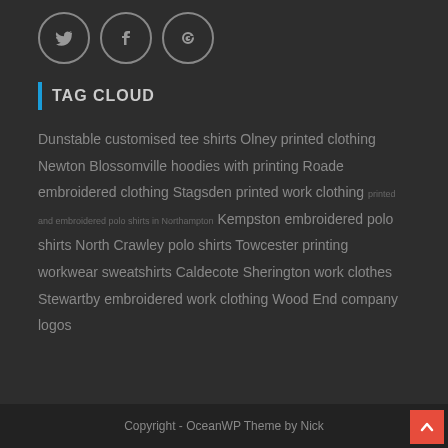[Figure (infographic): Three circular social media icon buttons (Twitter, Facebook, Google+) with thin circle borders on dark background]
TAG CLOUD
Dunstable customised tee shirts Olney printed clothing Newton Blossomville hoodies with printing Roade embroidered clothing Stagsden printed work clothing printed and embroidered polo shirts in Northampton Kempston embroidered polo shirts North Crawley polo shirts Towcester printing workwear sweatshirts Caldecote Sherington work clothes Stewartby embroidered work clothing Wood End company logos
Copyright - OceanWP Theme by Nick